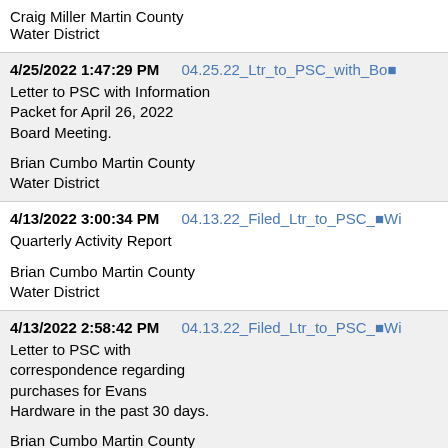Craig Miller Martin County Water District
| 4/25/2022 1:47:29 PM | 04.25.22_Ltr_to_PSC_with_Bo... | Letter to PSC with Information Packet for April 26, 2022 Board Meeting. | Brian Cumbo Martin County Water District |
| 4/13/2022 3:00:34 PM | 04.13.22_Filed_Ltr_to_PSC_Wi... | Quarterly Activity Report | Brian Cumbo Martin County Water District |
| 4/13/2022 2:58:42 PM | 04.13.22_Filed_Ltr_to_PSC_Wi... | Letter to PSC with correspondence regarding purchases for Evans Hardware in the past 30 days. | Brian Cumbo Martin County |